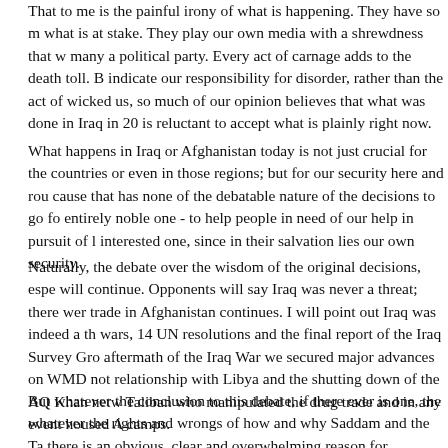That to me is the painful irony of what is happening. They have so much what is at stake. They play our own media with a shrewdness that would envy many a political party. Every act of carnage adds to the death toll. But to indicate our responsibility for disorder, rather than the act of wicked us, so much of our opinion believes that what was done in Iraq in 20 is reluctant to accept what is plainly right now.
What happens in Iraq or Afghanistan today is not just crucial for the countries or even in those regions; but for our security here and round cause that has none of the debatable nature of the decisions to go for entirely noble one - to help people in need of our help in pursuit of li interested one, since in their salvation lies our own security.
Naturally, the debate over the wisdom of the original decisions, espe will continue. Opponents will say Iraq was never a threat; there were trade in Afghanistan continues. I will point out Iraq was indeed a thr wars, 14 UN resolutions and the final report of the Iraq Survey Grou aftermath of the Iraq War we secured major advances on WMD not relationship with Libya and the shutting down of the AQ Khan netw Taliban who manipulated the drug trade and in any event housed Al camps.
But whatever the conclusion to this debate, if there ever is one, the f whatever the rights and wrongs of how and why Saddam and the Tab there is an obvious, clear and overwhelming reason for supporting th countries in their desire for democracy.